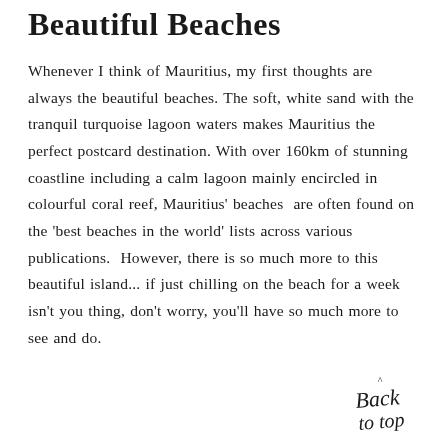Beautiful Beaches
Whenever I think of Mauritius, my first thoughts are always the beautiful beaches. The soft, white sand with the tranquil turquoise lagoon waters makes Mauritius the perfect postcard destination. With over 160km of stunning coastline including a calm lagoon mainly encircled in colourful coral reef, Mauritius' beaches  are often found on the 'best beaches in the world' lists across various publications.  However, there is so much more to this beautiful island... if just chilling on the beach for a week isn't you thing, don't worry, you'll have so much more to see and do.
[Figure (illustration): Stylized handwritten cursive text reading 'Back to top' with a small caret/arrow symbol above it, serving as a navigation element.]